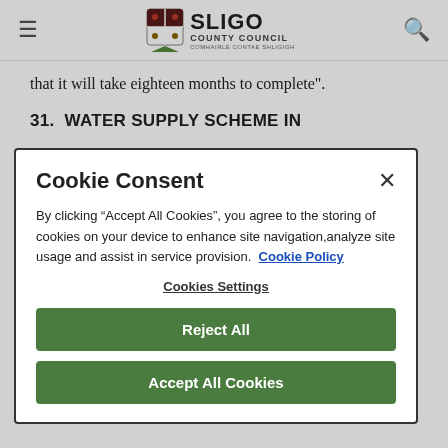Sligo County Council — navigation header with hamburger menu, logo, and search icon
that it will take eighteen months to complete".
31.  WATER SUPPLY SCHEME IN
Cookie Consent
By clicking “Accept All Cookies”, you agree to the storing of cookies on your device to enhance site navigation,analyze site usage and assist in service provision.  Cookie Policy
Cookies Settings
Reject All
Accept All Cookies